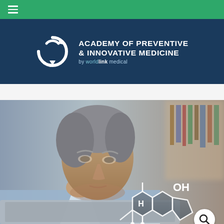≡ (hamburger menu)
[Figure (logo): Academy of Preventive & Innovative Medicine logo by worldlink medical — white circular arrow logo on navy background with text]
[Figure (photo): Middle-aged man with grey hair in blue shirt looking at a laptop, with a superimposed molecular structure (steroid/testosterone) showing 'OH' and 'H' labels, blurred bookshelf background. Search icon (magnifying glass) in white circle in upper right corner.]